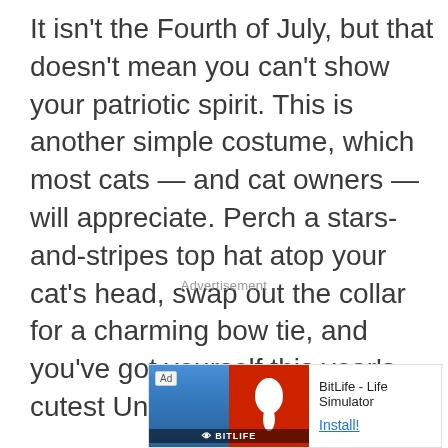It isn't the Fourth of July, but that doesn't mean you can't show your patriotic spirit. This is another simple costume, which most cats — and cat owners — will appreciate. Perch a stars-and-stripes top hat atop your cat's head, swap out the collar for a charming bow tie, and you've got yourself this year's cutest Uncle Sam.
Advertisement
Ad
[Figure (other): BitLife - Life Simulator mobile app advertisement banner with Ad badge, game imagery on left, app name and Install button on right]